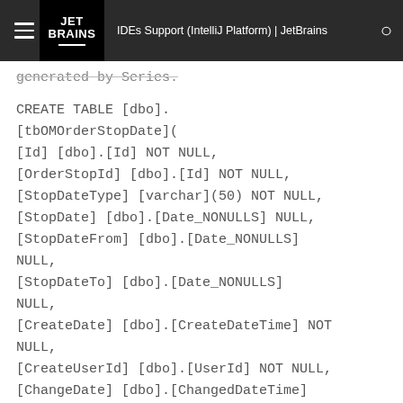JET BRAINS | IDEs Support (IntelliJ Platform) | JetBrains
generated by Series.
CREATE TABLE [dbo].
[tbOMOrderStopDate](
[Id] [dbo].[Id] NOT NULL,
[OrderStopId] [dbo].[Id] NOT NULL,
[StopDateType] [varchar](50) NOT NULL,
[StopDate] [dbo].[Date_NONULLS] NULL,
[StopDateFrom] [dbo].[Date_NONULLS] NULL,
[StopDateTo] [dbo].[Date_NONULLS] NULL,
[CreateDate] [dbo].[CreateDateTime] NOT NULL NULL,
[CreateUserId] [dbo].[UserId] NOT NULL,
[ChangeDate] [dbo].[ChangedDateTime]